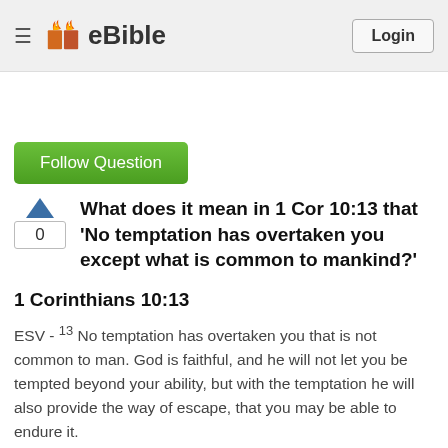eBible — Login
Follow Question
What does it mean in 1 Cor 10:13 that 'No temptation has overtaken you except what is common to mankind?'
1 Corinthians 10:13
ESV - 13 No temptation has overtaken you that is not common to man. God is faithful, and he will not let you be tempted beyond your ability, but with the temptation he will also provide the way of escape, that you may be able to endure it.